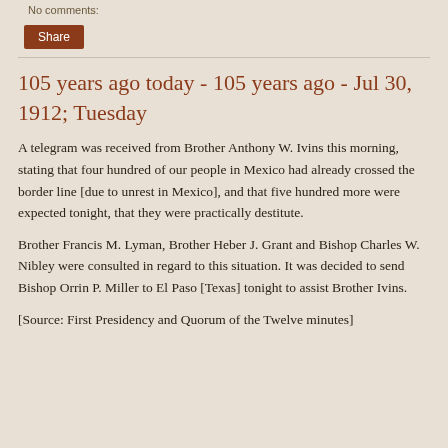No comments:
Share
105 years ago today - 105 years ago - Jul 30, 1912; Tuesday
A telegram was received from Brother Anthony W. Ivins this morning, stating that four hundred of our people in Mexico had already crossed the border line [due to unrest in Mexico], and that five hundred more were expected tonight, that they were practically destitute.
Brother Francis M. Lyman, Brother Heber J. Grant and Bishop Charles W. Nibley were consulted in regard to this situation. It was decided to send Bishop Orrin P. Miller to El Paso [Texas] tonight to assist Brother Ivins.
[Source: First Presidency and Quorum of the Twelve minutes]